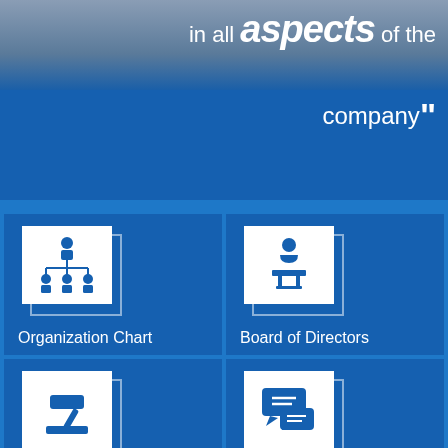in all aspects of the company"
[Figure (infographic): Navigation menu with four tiles: Organization Chart, Board of Directors, and two partially visible tiles with legal/gavel and chat icons. Blue corporate design with white icons.]
Organization Chart
Board of Directors